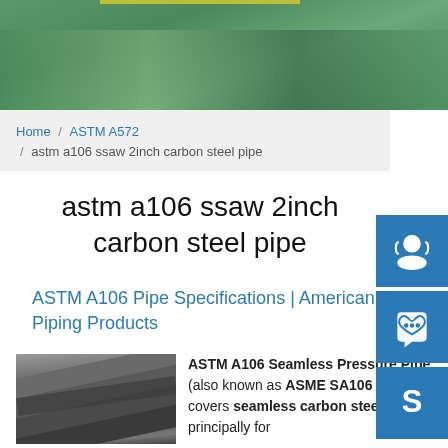[Figure (photo): Green industrial floor or yard surface with yellow line marking, viewed from above]
Home / ASTM A572 / astm a106 ssaw 2inch carbon steel pipe
astm a106 ssaw 2inch carbon steel pipe
ASTM A106 Pipe Specifications | American Piping Products
[Figure (photo): Stacked dark grey steel plates or sheets, close-up industrial photo]
ASTM A106 Seamless Pressure Pipe (also known as ASME SA106 pipe) covers seamless carbon steel pipe principally for...